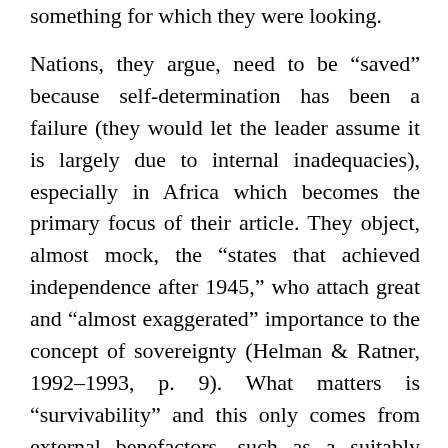something for which they were looking.
Nations, they argue, need to be “saved” because self-determination has been a failure (they would let the leader assume it is largely due to internal inadequacies), especially in Africa which becomes the primary focus of their article. They object, almost mock, the “states that achieved independence after 1945,” who attach great and “almost exaggerated” importance to the concept of sovereignty (Helman & Ratner, 1992–1993, p. 9). What matters is “survivability” and this only comes from external benefactors, such as a suitably restructured UN which has